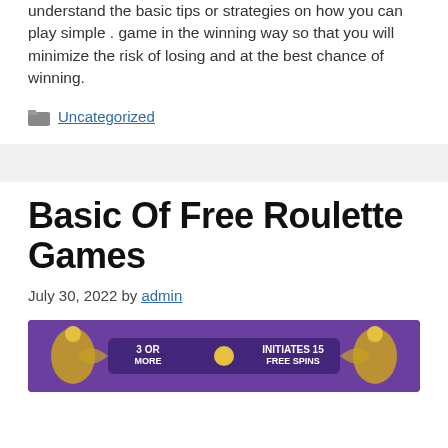understand the basic tips or strategies on how you can play simple . game in the winning way so that you will minimize the risk of losing and at the best chance of winning.
Uncategorized
Basic Of Free Roulette Games
July 30, 2022 by admin
[Figure (screenshot): Partial screenshot of a slot game interface with purple background showing '3 OR MORE INITIATES 15 FREE SPINS' text with gold decorative elements]